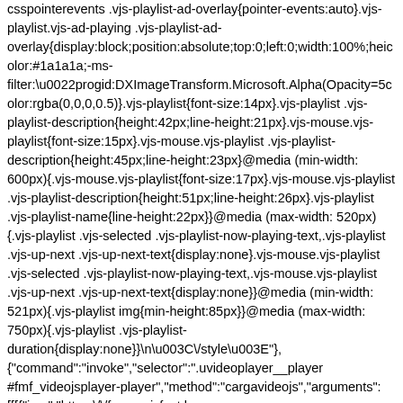csspointerevents .vjs-playlist-ad-overlay{pointer-events:auto}.vjs-playlist.vjs-ad-playing .vjs-playlist-ad-overlay{display:block;position:absolute;top:0;left:0;width:100%;height:100%;color:#1a1a1a;-ms-filter:\u0022progid:DXImageTransform.Microsoft.Alpha(Opacity=50);background-color:rgba(0,0,0,0.5)}.vjs-playlist{font-size:14px}.vjs-playlist .vjs-playlist-description{height:42px;line-height:21px}.vjs-mouse.vjs-playlist{font-size:15px}.vjs-mouse.vjs-playlist .vjs-playlist-description{height:45px;line-height:23px}@media (min-width:600px){.vjs-mouse.vjs-playlist{font-size:17px}.vjs-mouse.vjs-playlist .vjs-playlist-description{height:51px;line-height:26px}.vjs-playlist .vjs-playlist-name{line-height:22px}}@media (max-width: 520px){.vjs-playlist .vjs-selected .vjs-playlist-now-playing-text,.vjs-playlist .vjs-up-next .vjs-up-next-text{display:none}.vjs-mouse.vjs-playlist .vjs-selected .vjs-playlist-now-playing-text,.vjs-mouse.vjs-playlist .vjs-up-next .vjs-up-next-text{display:none}}@media (min-width: 521px){.vjs-playlist img{min-height:85px}}@media (max-width: 750px){.vjs-playlist .vjs-playlist-duration{display:none}}\n\u003C\/style\u003E"}, {"command":"invoke","selector":".uvideoplayer__player #fmf_videojsplayer-player","method":"cargavideojs","arguments": [[[{"img":"https:\/\/fanmusicfest.b-cdn.net\/sites\/default\/files\/media-youtube\/I6KiqSmik9k.jpg","title":"Ma\u00f1ana (Ft. Lola India)",{"drama":"Video","best":","content":"At\/I6Ki..Smik9k","